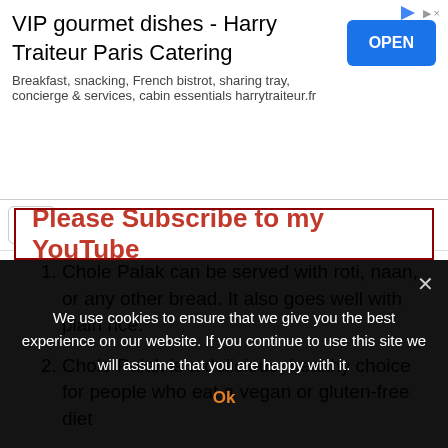[Figure (screenshot): Ad banner for VIP gourmet dishes - Harry Traiteur Paris Catering with OPEN button]
ng suggestions
Chole Palak can be served with roti, naan, or any other bread. It also goes well with plain rice.
Chole Palak is a delicious, healthy choice for people who eat a vegan or gluten-free diet
[Figure (screenshot): Please Subscribe to my YouTube banner with red border]
We use cookies to ensure that we give you the best experience on our website. If you continue to use this site we will assume that you are happy with it.
Ok